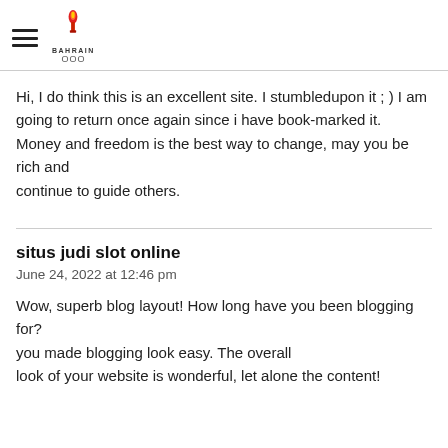Bahrain Olympic Committee logo with hamburger menu
Hi, I do think this is an excellent site. I stumbledupon it ; ) I am going to return once again since i have book-marked it.
Money and freedom is the best way to change, may you be rich and
continue to guide others.
situs judi slot online
June 24, 2022 at 12:46 pm
Wow, superb blog layout! How long have you been blogging for?
you made blogging look easy. The overall
look of your website is wonderful, let alone the content!